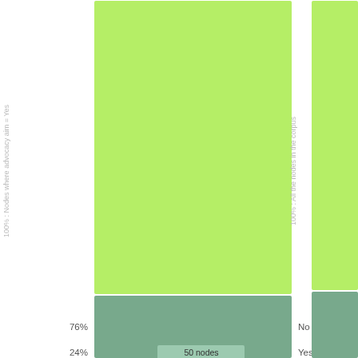[Figure (other): Decision tree visualization showing two nodes split. Left subtree: 100% Nodes where advocacy aim = Yes, split into 76% (155 nodes, No) and 24% (50 nodes, Yes). Right subtree: 100% All the nodes in the corpus, also partially visible with similar green and teal coloring.]